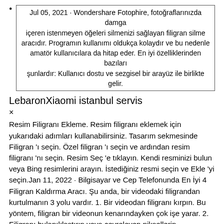Jul 05, 2021 · Wondershare Fotophire, fotoğraflarınızda damga içeren istenmeyen öğeleri silmenizi sağlayan filigran silme aracıdır. Programın kullanımı oldukça kolaydır ve bu nedenle amatör kullanıcılara da hitap eder. En iyi özelliklerinden bazıları şunlardır: Kullanıcı dostu ve sezgisel bir arayüz ile birlikte gelir.
LebaronXiaomi istanbul servis
×
Resim Filigranı Ekleme. Resim filigranı eklemek için yukarıdaki adımları kullanabilirsiniz. Tasarım sekmesinde Filigran 'ı seçin. Özel filigran 'ı seçin ve ardından resim filigranı 'nı seçin. Resim Seç 'e tıklayın. Kendi resminizi bulun veya Bing resimlerini arayın. İstediğiniz resmi seçin ve Ekle 'yi seçin.Jan 11, 2022 · Bilgisayar ve Cep Telefonunda En İyi 4 Filigran Kaldırma Aracı. Şu anda, bir videodaki filigrandan kurtulmanın 3 yolu vardır. 1. Bir videodan filigranı kırpın. Bu yöntem, filigran bir videonun kenarındayken çok işe yarar. 2. Filigranı bulanıklaştırın veya çevreleyen piksellerin enterpolasyonunu kullanın. 3. Jul 05, 2021 · Wondershare Fotophire, fotoğraflarınızda damga içeren istenmeyen öğeleri silmenizi sağlayan filigran silme aracıdır. Programın kullanımı oldukça kolaydır ve bu nedenle amatör kullanıcılara da hitap eder. En iyi özelliklerinden bazıları şunlardır: Kullanıcı dostu ve sezgisel bir arayüz ile birlikte gelir. Fotoğraf ve